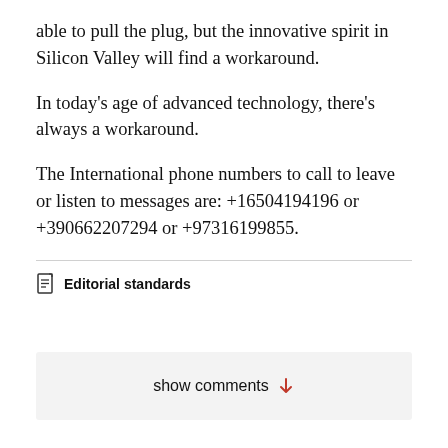able to pull the plug, but the innovative spirit in Silicon Valley will find a workaround.
In today's age of advanced technology, there's always a workaround.
The International phone numbers to call to leave or listen to messages are: +16504194196 or +390662207294 or +97316199855.
Editorial standards
show comments